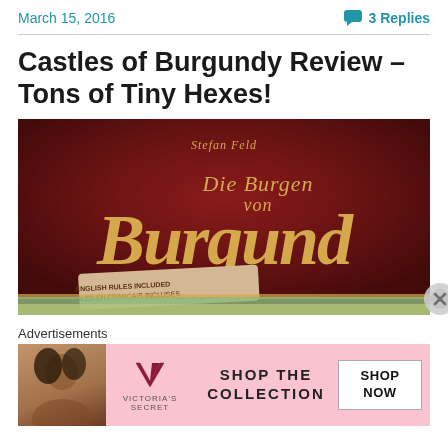March 15, 2016   💬 3 Replies
Castles of Burgundy Review – Tons of Tiny Hexes!
[Figure (photo): Box art for the board game 'Die Burgen von Burgundy' (Castles of Burgundy) by Stefan Feld. Gold cursive text on a dark red background. A banner reads 'English rules included / Règles en français incluses'.]
Advertisements
[Figure (infographic): Victoria's Secret advertisement banner with pink background. Shows a woman with curly hair on the left, VS logo in the center, text 'SHOP THE COLLECTION' in the middle, and a white 'SHOP NOW' button on the right.]